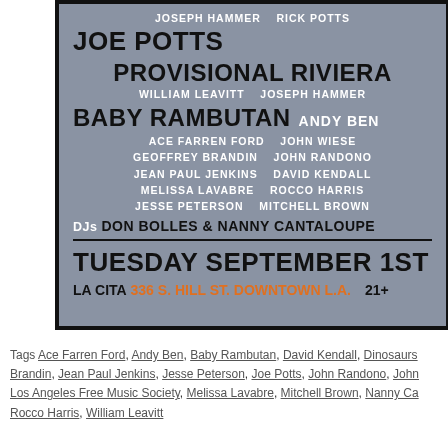[Figure (infographic): Event poster on blue-grey background advertising a music event. Names listed: Joseph Hammer, Rick Potts, Joe Potts, Provisional Riviera, William Leavitt, Joseph Hammer, Baby Rambutan, Andy Ben, Ace Farren Ford, John Wiese, Geoffrey Brandin, John Randono, Jean Paul Jenkins, David Kendall, Melissa Lavabre, Rocco Harris, Jesse Peterson, Mitchell Brown. DJs Don Bolles & Nanny Cantaloupe. Event on Tuesday September 1st at La Cita, 336 S. Hill St. Downtown L.A. 21+]
Tags Ace Farren Ford, Andy Ben, Baby Rambutan, David Kendall, Dinosaurs... Brandin, Jean Paul Jenkins, Jesse Peterson, Joe Potts, John Randono, John... Los Angeles Free Music Society, Melissa Lavabre, Mitchell Brown, Nanny Ca... Rocco Harris, William Leavitt